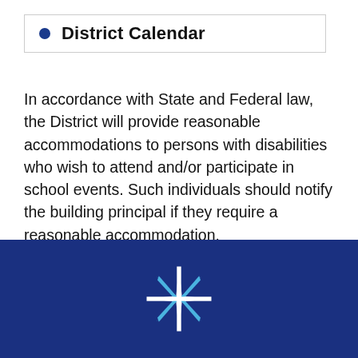District Calendar
In accordance with State and Federal law, the District will provide reasonable accommodations to persons with disabilities who wish to attend and/or participate in school events. Such individuals should notify the building principal if they require a reasonable accommodation.
[Figure (logo): White snowflake / star burst logo on dark blue background]